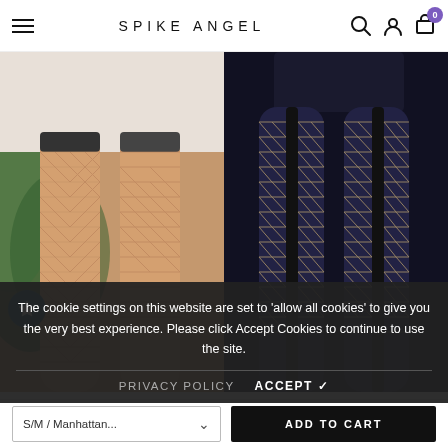SPIKE ANGEL
[Figure (photo): Two product photos side by side: left shows legs wearing nude large-diamond fishnet tights with lace top against palm plant background; right shows legs wearing black tights with vertical stripe and lace-up crosshatch pattern]
The cookie settings on this website are set to 'allow all cookies' to give you the very best experience. Please click Accept Cookies to continue to use the site.
PRIVACY POLICY    ACCEPT ✓
TRASPARENZE
Jujube Fashion Fishnet Tights
TRASPARENZE
Ipoarca Lace Up Patterned
S/M / Manhattan...    ADD TO CART